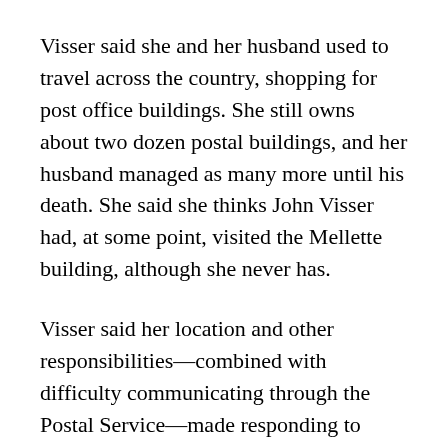Visser said she and her husband used to travel across the country, shopping for post office buildings. She still owns about two dozen postal buildings, and her husband managed as many more until his death. She said she thinks John Visser had, at some point, visited the Mellette building, although she never has.
Visser said her location and other responsibilities—combined with difficulty communicating through the Postal Service—made responding to complaints cumbersome.
“I couldn’t go there, because I had too much to take care of here,” she said. “I was taking care of my husband, and then when he passed, I had to stay here